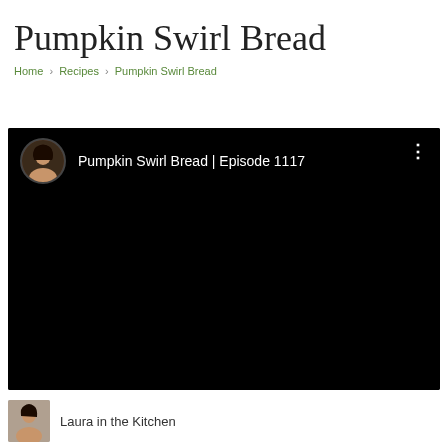Pumpkin Swirl Bread
Home > Recipes > Pumpkin Swirl Bread
[Figure (screenshot): Embedded video player showing 'Pumpkin Swirl Bread | Episode 1117' with a circular avatar of a woman with dark hair in the top-left corner and a three-dot menu icon in the top-right, set against a black background.]
Laura in the Kitchen